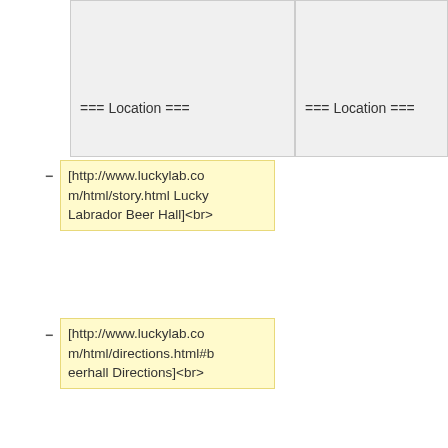=== Location ===
=== Location ===
[http://www.luckylab.com/html/story.html Lucky Labrador Beer Hall]<br>
[http://www.luckylab.com/html/directions.html#beerhall Directions]<br>
1945 NW Quimby St.<br>
Portland, Oregon
=== Date and Time  ===
=== Date and Time  ===
Thursday, December 1, 2011<br>
<font color="red">'''Sorry, but we are canceling, since we didn't have enough people signed